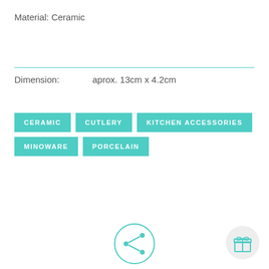Material: Ceramic
Dimension:    aprox. 13cm x 4.2cm
CERAMIC
CUTLERY
KITCHEN ACCESSORIES
MINOWARE
PORCELAIN
[Figure (illustration): Share button: teal circle outline with share icon (three dots connected), labeled SHARE below]
[Figure (illustration): Gift box icon in a light grey circle, bottom right corner]